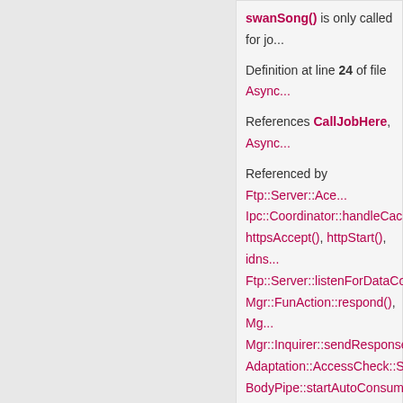swanSong() is only called for jo...
Definition at line 24 of file Async...
References CallJobHere, Async...
Referenced by Ftp::Server::Ac... Ipc::Coordinator::handleCach... httpsAccept(), httpStart(), idns... Ftp::Server::listenForDataCon... Mgr::FunAction::respond(), Mg... Mgr::Inquirer::sendResponse(... Adaptation::AccessCheck::St... BodyPipe::startAutoConsump... PeerPoolMgrsRr::syncConfig(
◆ status()
const char * AsyncJob::status
for debugging, starts with space...